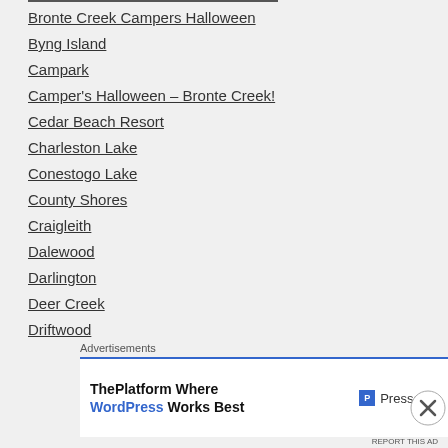Bronte Creek Campers Halloween
Byng Island
Campark
Camper's Halloween – Bronte Creek!
Cedar Beach Resort
Charleston Lake
Conestogo Lake
County Shores
Craigleith
Dalewood
Darlington
Deer Creek
Driftwood
Earl Rowe
Earl Rowe Provincial Park
Advertisements
[Figure (screenshot): Pressable advertisement banner: 'ThePlatform Where WordPress Works Best' with Pressable logo]